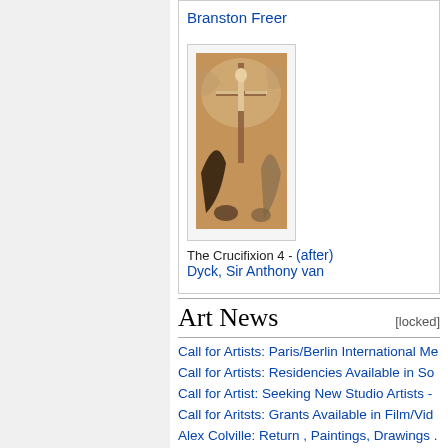Branston Freer
[Figure (illustration): The Crucifixion 4 - a painting showing crucifixion scene with figures, warm brown tones]
The Crucifixion 4 - (after) Dyck, Sir Anthony van
Art News [locked]
Call for Artists: Paris/Berlin International Me...
Call for Artists: Residencies Available in So...
Call for Artist: Seeking New Studio Artists - ...
Call for Aritsts: Grants Available in Film/Vid...
Alex Colville: Return , Paintings, Drawings ...
Yosemite's Structure and Textures: Photogr...